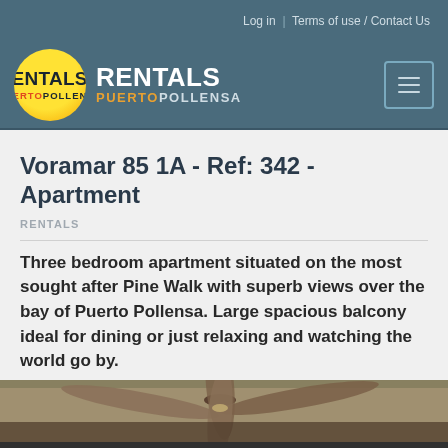Log in  |  Terms of use / Contact Us
[Figure (logo): Rentals Puerto Pollensa logo — yellow circle with RENTALS text above PUERTOPOLLENSA]
Voramar 85 1A - Ref: 342 - Apartment
RENTALS
Three bedroom apartment situated on the most sought after Pine Walk with superb views over the bay of Puerto Pollensa. Large spacious balcony ideal for dining or just relaxing and watching the world go by.
[Figure (photo): Interior photo showing ceiling fan and room]
This site uses cookies. By continuing to browse you accept their